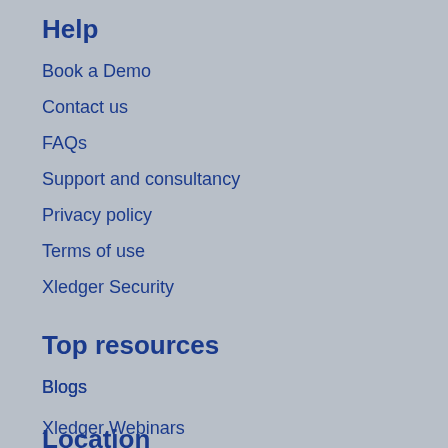Help
Book a Demo
Contact us
FAQs
Support and consultancy
Privacy policy
Terms of use
Xledger Security
Top resources
Blogs
Xledger Webinars
Whitepapers and Guides
Xledger App
Location